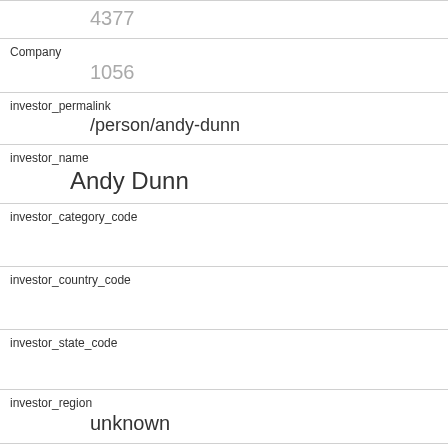| Field | Value |
| --- | --- |
|  | 4377 |
| Company | 1056 |
| investor_permalink | /person/andy-dunn |
| investor_name | Andy Dunn |
| investor_category_code |  |
| investor_country_code |  |
| investor_state_code |  |
| investor_region | unknown |
| investor_city |  |
| funding_round_type | series-a |
| funded_at | 1360540800 |